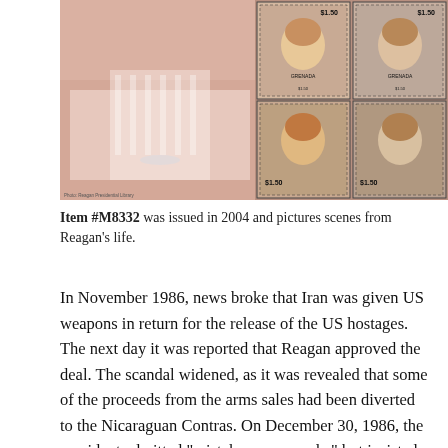[Figure (photo): A composite image showing the White House on the left and four Grenada postage stamps on the right, each valued at $1.50 and featuring scenes of Ronald Reagan, issued in 2004.]
Item #M8332 was issued in 2004 and pictures scenes from Reagan's life.
In November 1986, news broke that Iran was given US weapons in return for the release of the US hostages. The next day it was reported that Reagan approved the deal. The scandal widened, as it was revealed that some of the proceeds from the arms sales had been diverted to the Nicaraguan Contras. On December 30, 1986, the president admitted “mistakes were made,” but insisted he did not know arms sales were diverted to Nicaragua. Later, special investigations officially